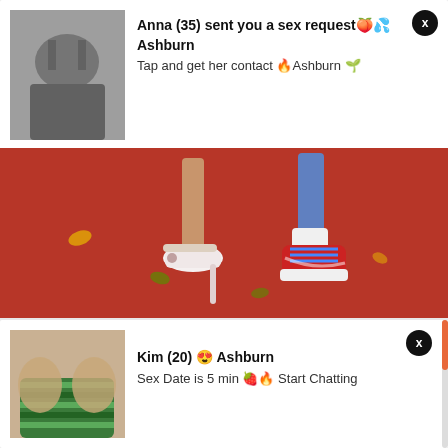[Figure (photo): Notification card 1: thumbnail of person from behind, with red carpet photo below showing feet in heels and sneakers]
Anna (35) sent you a sex request 🍑💦 Ashburn
Tap and get her contact 🔥Ashburn 🌱
Tags: Jamelia Feet
[Figure (photo): Notification card 2: thumbnail of person in striped swimwear]
Kim (20) 😍 Ashburn
Sex Date is 5 min 🍓🔥 Start Chatting